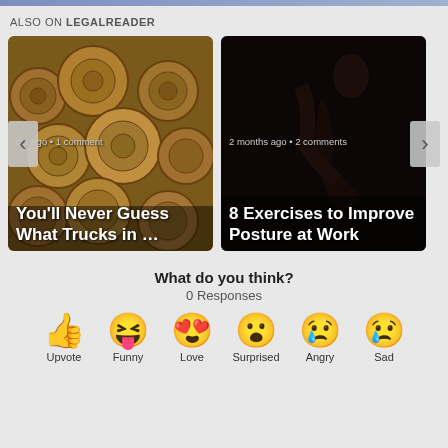ALSO ON LEGALREADER
[Figure (photo): Article card: stacked wood logs image with title 'You'll Never Guess What Trucks in ...' and meta 'ths ago • 1 comment']
[Figure (photo): Article card: dark fitness/posture image with title '8 Exercises to Improve Posture at Work' and meta '2 months ago • 2 comments']
What do you think?
0 Responses
Upvote
Funny
Love
Surprised
Angry
Sad